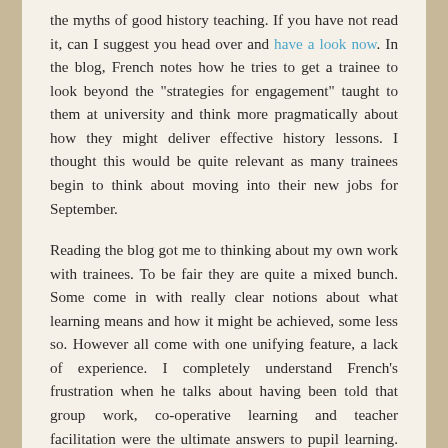the myths of good history teaching. If you have not read it, can I suggest you head over and have a look now. In the blog, French notes how he tries to get a trainee to look beyond the "strategies for engagement" taught to them at university and think more pragmatically about how they might deliver effective history lessons. I thought this would be quite relevant as many trainees begin to think about moving into their new jobs for September.
Reading the blog got me to thinking about my own work with trainees. To be fair they are quite a mixed bunch. Some come in with really clear notions about what learning means and how it might be achieved, some less so. However all come with one unifying feature, a lack of experience. I completely understand French's frustration when he talks about having been told that group work, co-operative learning and teacher facilitation were the ultimate answers to pupil learning. Many of the trainees I have worked with in the past seem to work on a lesson by lesson basis, not